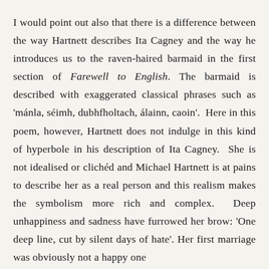I would point out also that there is a difference between the way Hartnett describes Ita Cagney and the way he introduces us to the raven-haired barmaid in the first section of Farewell to English. The barmaid is described with exaggerated classical phrases such as 'mánla, séimh, dubhfholtach, álainn, caoin'. Here in this poem, however, Hartnett does not indulge in this kind of hyperbole in his description of Ita Cagney. She is not idealised or clichéd and Michael Hartnett is at pains to describe her as a real person and this realism makes the symbolism more rich and complex. Deep unhappiness and sadness have furrowed her brow: 'One deep line, cut by silent days of hate'. Her first marriage was obviously not a happy one